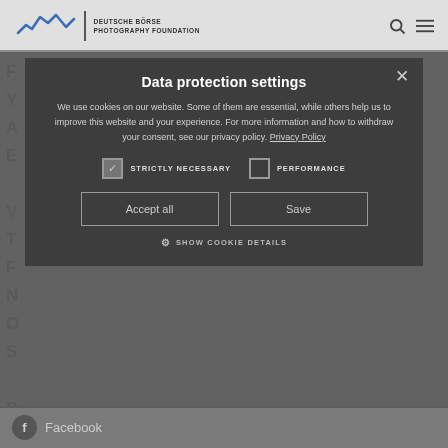[Figure (screenshot): Deutsche Börse Photography Foundation website navigation bar with logo (wavy line graphic + text), search icon, and hamburger menu icon on light grey background]
Data protection settings
We use cookies on our website. Some of them are essential, while others help us to improve this website and your experience. For more information and how to withdraw your consent, see our privacy policy. Privacy Policy
STRICTLY NECESSARY (checked)
PERFORMANCE (unchecked)
Accept all
Save
SHOW COOKIE DETAILS
Facebook